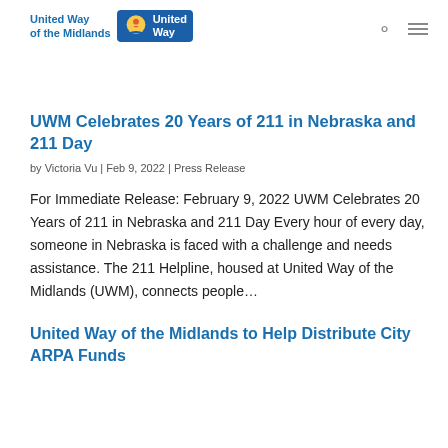[Figure (logo): United Way of the Midlands logo with text and United Way badge icon]
UWM Celebrates 20 Years of 211 in Nebraska and 211 Day
by Victoria Vu | Feb 9, 2022 | Press Release
For Immediate Release: February 9, 2022 UWM Celebrates 20 Years of 211 in Nebraska and 211 Day Every hour of every day, someone in Nebraska is faced with a challenge and needs assistance. The 211 Helpline, housed at United Way of the Midlands (UWM), connects people...
United Way of the Midlands to Help Distribute City ARPA Funds